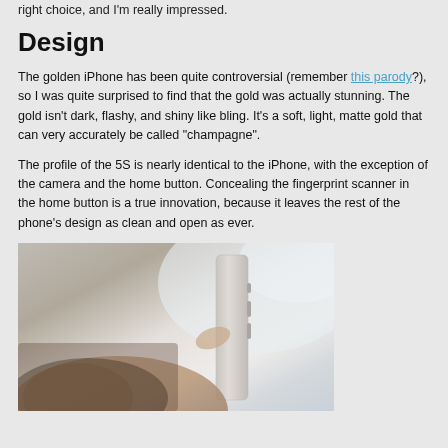right choice, and I'm really impressed.
Design
The golden iPhone has been quite controversial (remember this parody?), so I was quite surprised to find that the gold was actually stunning. The gold isn't dark, flashy, and shiny like bling. It's a soft, light, matte gold that can very accurately be called “champagne”.
The profile of the 5S is nearly identical to the iPhone, with the exception of the camera and the home button. Concealing the fingerprint scanner in the home button is a true innovation, because it leaves the rest of the phone’s design as clean and open as ever.
[Figure (photo): A hand holding the side edge of a gold iPhone 5S, showing its slim profile against a blurred background.]